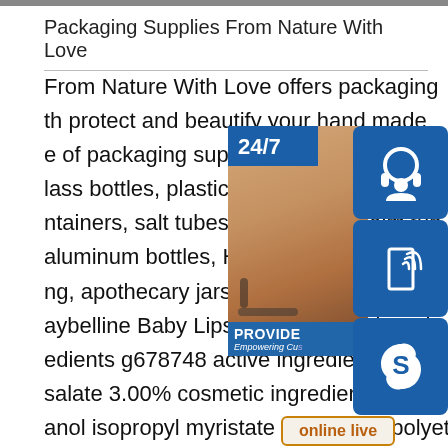Packaging Supplies From Nature With Love
From Nature With Love offers packaging th protect and beautify your hand made e of packaging supplies includes cobalt, lass bottles, plastic lip balm and cream ja ntainers, salt tubes, salt jars, lip balm tub aluminum bottles, HDPE bottles, PET bo ng, apothecary jars, powder sifters, bask aybelline Baby Lips Moisturizing Lip Bal edients g678748 active ingredients octinoxate 7.50% octi salate 3.00% cosmetic ingredients polybutene octyldodec anol isopropyl myristate petrolatum polyethylene ozokerit e diisostearyl malate butyrospermum parkii (shea) butter euphorbia cerifera (candelilla) wax vp/hexadecene copoly
[Figure (infographic): Customer service overlay with 24/7 label, headset woman photo, blue icon boxes with headphone, phone/Skype icons, online live button, and PROVIDE banner]